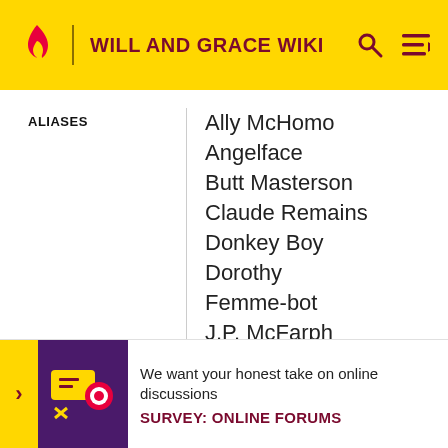WILL AND GRACE WIKI
ALIASES
Ally McHomo
Angelface
Butt Masterson
Claude Remains
Donkey Boy
Dorothy
Femme-bot
J.P. McFarph
Jack
Jack 2000
Jack 2001
We want your honest take on online discussions
SURVEY: ONLINE FORUMS